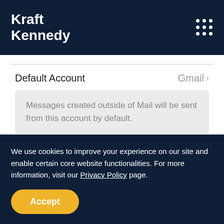Kraft Kennedy
Default Account   Gmail >
Messages created outside of Mail will be sent from this account by default.
9. Here you can choose between having one signature for both
We use cookies to improve your experience on our site and enable certain core website functionalities. For more information, visit our Privacy Policy page.
Accept